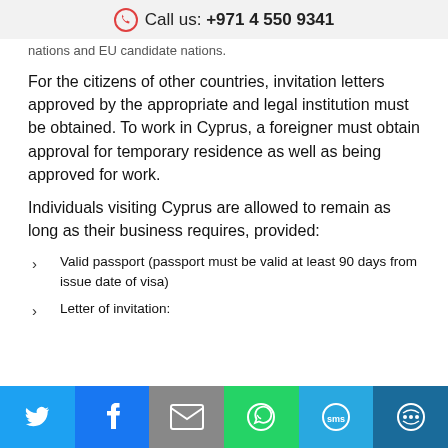Call us: +971 4 550 9341
nations and EU candidate nations.
For the citizens of other countries, invitation letters approved by the appropriate and legal institution must be obtained. To work in Cyprus, a foreigner must obtain approval for temporary residence as well as being approved for work.
Individuals visiting Cyprus are allowed to remain as long as their business requires, provided:
Valid passport (passport must be valid at least 90 days from issue date of visa)
Letter of invitation: